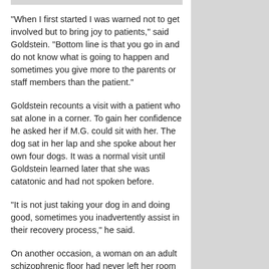“When I first started I was warned not to get involved but to bring joy to patients,” said Goldstein. “Bottom line is that you go in and do not know what is going to happen and sometimes you give more to the parents or staff members than the patient.”
Goldstein recounts a visit with a patient who sat alone in a corner. To gain her confidence he asked her if M.G. could sit with her. The dog sat in her lap and she spoke about her own four dogs. It was a normal visit until Goldstein learned later that she was catatonic and had not spoken before.
“It is not just taking your dog in and doing good, sometimes you inadvertently assist in their recovery process,” he said.
On another occasion, a woman on an adult schizophrenic floor had never left her room